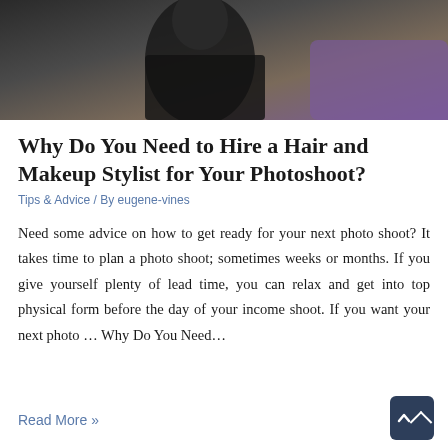[Figure (photo): Partial view of a person with dark hair wearing a black top, sitting in front of a purple background. The photo is cropped showing mainly the back/shoulder area.]
Why Do You Need to Hire a Hair and Makeup Stylist for Your Photoshoot?
Tips & Advice / By eugene-vines
Need some advice on how to get ready for your next photo shoot? It takes time to plan a photo shoot; sometimes weeks or months. If you give yourself plenty of lead time, you can relax and get into top physical form before the day of your income shoot. If you want your next photo … Why Do You Need…
Read More »